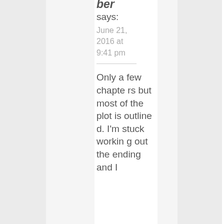ber
says:
June 21, 2016 at 9:41 pm
Only a few chapters but most of the plot is outlined. I'm stuck working out the ending and I